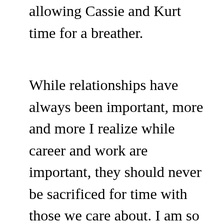allowing Cassie and Kurt time for a breather.
While relationships have always been important, more and more I realize while career and work are important, they should never be sacrificed for time with those we care about. I am so thankful that at this time of life we have both the time, resources and energy to invest in what will make difference long after my articles and books have been forgotten. It is what Jesus lived while on earth–reaching out with love and care and